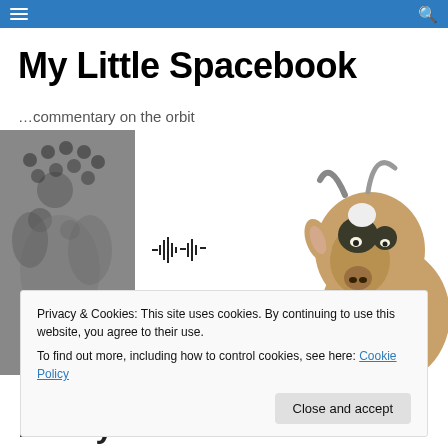My Little Spacebook — navigation bar
My Little Spacebook
…commentary on the orbit
[Figure (photo): Composite image: black-and-white Buddha statue head on the left, a goat head with tongue out on the right, and a sound wave icon in between on a white background.]
Privacy & Cookies: This site uses cookies. By continuing to use this website, you agree to their use.
To find out more, including how to control cookies, see here: Cookie Policy
[Close and accept]
It's My Favorite Sheet